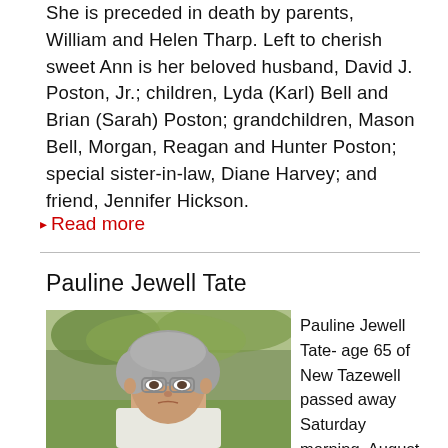She is preceded in death by parents, William and Helen Tharp. Left to cherish sweet Ann is her beloved husband, David J. Poston, Jr.; children, Lyda (Karl) Bell and Brian (Sarah) Poston; grandchildren, Mason Bell, Morgan, Reagan and Hunter Poston; special sister-in-law, Diane Harvey; and friend, Jennifer Hickson.
Read more
Pauline Jewell Tate
[Figure (photo): Portrait photo of Pauline Jewell Tate, an older woman with curly gray hair and glasses, photographed outdoors with green grass and trees in the background.]
Pauline Jewell Tate- age 65 of New Tazewell passed away Saturday morning, August 13, 2022 at Fort Sanders Regional